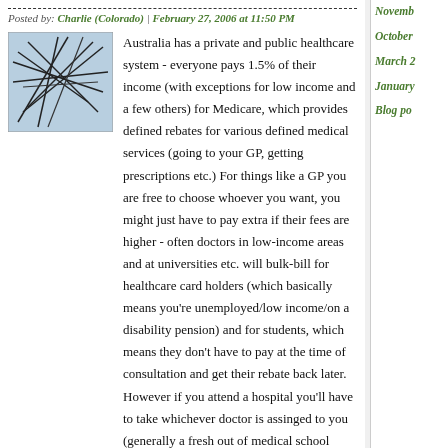Posted by: Charlie (Colorado) | February 27, 2006 at 11:50 PM
[Figure (illustration): Small avatar image showing abstract line drawing on light blue background]
Australia has a private and public healthcare system - everyone pays 1.5% of their income (with exceptions for low income and a few others) for Medicare, which provides defined rebates for various defined medical services (going to your GP, getting prescriptions etc.) For things like a GP you are free to choose whoever you want, you might just have to pay extra if their fees are higher - often doctors in low-income areas and at universities etc. will bulk-bill for healthcare card holders (which basically means you're unemployed/low income/on a disability pension) and for students, which means they don't have to pay at the time of consultation and get their rebate back later. However if you attend a hospital you'll have to take whichever doctor is assinged to you (generally a fresh out of medical school resident).
November
October
March 2
January
Blog po